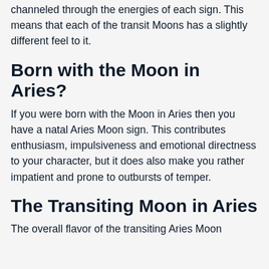channeled through the energies of each sign. This means that each of the transit Moons has a slightly different feel to it.
Born with the Moon in Aries?
If you were born with the Moon in Aries then you have a natal Aries Moon sign. This contributes enthusiasm, impulsiveness and emotional directness to your character, but it does also make you rather impatient and prone to outbursts of temper.
The Transiting Moon in Aries
The overall flavor of the transiting Aries Moon